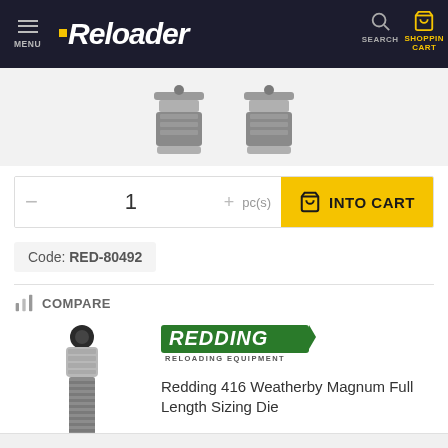MENU | Reloader | SEARCH | SHOPPING CART
[Figure (photo): Two reloading dies shown from above/side angle, silver metal with threaded bodies and lock rings]
1  pc(s)  INTO CART
Code: RED-80492
COMPARE
[Figure (photo): Redding reloading die - Full Length Sizing Die, silver and black metal, threaded body with knurled adjustment knob at top]
[Figure (logo): Redding Reloading Equipment logo - green background with white text]
Redding 416 Weatherby Magnum Full Length Sizing Die
100.67 EUR
On backorder